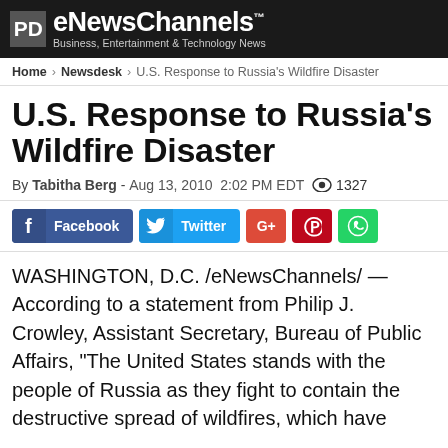eNewsChannels™ — Business, Entertainment & Technology News
Home › Newsdesk › U.S. Response to Russia's Wildfire Disaster
U.S. Response to Russia's Wildfire Disaster
By Tabitha Berg - Aug 13, 2010 2:02 PM EDT 👁 1327
[Figure (infographic): Social sharing buttons: Facebook, Twitter, Google+, Pinterest, WhatsApp]
WASHINGTON, D.C. /eNewsChannels/ — According to a statement from Philip J. Crowley, Assistant Secretary, Bureau of Public Affairs, "The United States stands with the people of Russia as they fight to contain the destructive spread of wildfires, which have